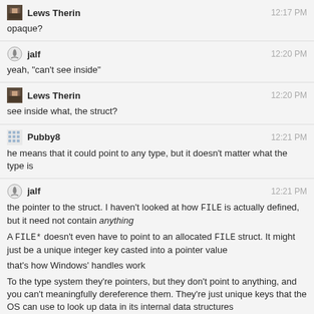Lews Therin 12:17 PM
opaque?
jalf 12:20 PM
yeah, "can't see inside"
Lews Therin 12:20 PM
see inside what, the struct?
Pubby8 12:21 PM
he means that it could point to any type, but it doesn't matter what the type is
jalf 12:21 PM
the pointer to the struct. I haven't looked at how FILE is actually defined, but it need not contain anything
A FILE* doesn't even have to point to an allocated FILE struct. It might just be a unique integer key casted into a pointer value
that's how Windows' handles work
To the type system they're pointers, but they don't point to anything, and you can't meaningfully dereference them. They're just unique keys that the OS can use to look up data in its internal data structures
Pubby8 12:23 PM
windows handles aren't really pointers?
Lews Therin 12:23 PM
mmn, ok. Thanks..